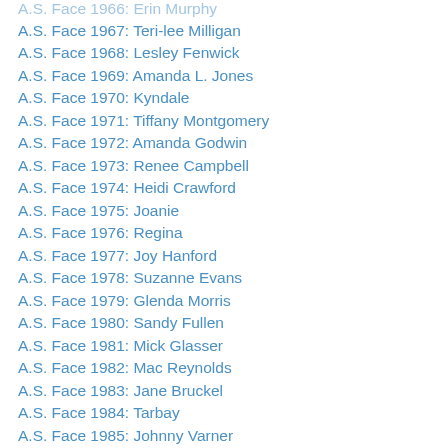A.S. Face 1967: Teri-lee Milligan
A.S. Face 1968: Lesley Fenwick
A.S. Face 1969: Amanda L. Jones
A.S. Face 1970: Kyndale
A.S. Face 1971: Tiffany Montgomery
A.S. Face 1972: Amanda Godwin
A.S. Face 1973: Renee Campbell
A.S. Face 1974: Heidi Crawford
A.S. Face 1975: Joanie
A.S. Face 1976: Regina
A.S. Face 1977: Joy Hanford
A.S. Face 1978: Suzanne Evans
A.S. Face 1979: Glenda Morris
A.S. Face 1980: Sandy Fullen
A.S. Face 1981: Mick Glasser
A.S. Face 1982: Mac Reynolds
A.S. Face 1983: Jane Bruckel
A.S. Face 1984: Tarbay
A.S. Face 1985: Johnny Varner
A.S. Face 1986: (partially visible)